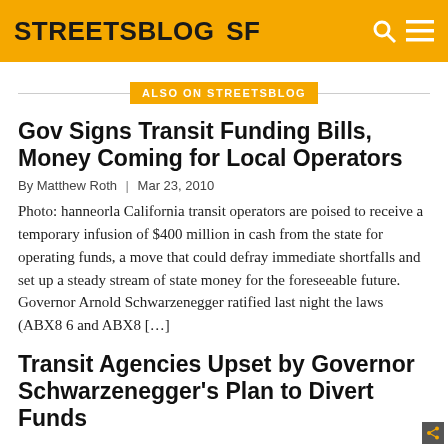STREETSBLOG SF
ALSO ON STREETSBLOG
Gov Signs Transit Funding Bills, Money Coming for Local Operators
By Matthew Roth | Mar 23, 2010
Photo: hanneorla California transit operators are poised to receive a temporary infusion of $400 million in cash from the state for operating funds, a move that could defray immediate shortfalls and set up a steady stream of state money for the foreseeable future. Governor Arnold Schwarzenegger ratified last night the laws (ABX8 6 and ABX8 […]
Transit Agencies Upset by Governor Schwarzenegger's Plan to Divert Funds